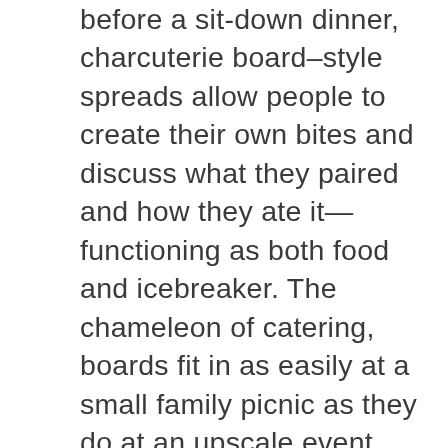before a sit-down dinner, charcuterie board–style spreads allow people to create their own bites and discuss what they paired and how they ate it—functioning as both food and icebreaker. The chameleon of catering, boards fit in as easily at a small family picnic as they do at an upscale event, while also giving people more flexibility than a set menu: hungrier guests can make almost a full meal of the offerings, while lighter eaters can sparsely snack. But the ultimate asset of an attractive board to anchor an event is the freedom to indulge artistic whims in building a creative, edible assortment. Expert charcuterie board makers from around the West talk about how they design their signature creative boards with both classic snacks and unorthodox offerings in elegant